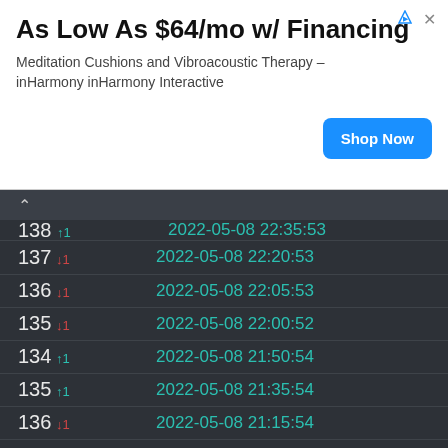[Figure (screenshot): Advertisement banner: 'As Low As $64/mo w/ Financing' for Meditation Cushions and Vibroacoustic Therapy – inHarmony inHarmony Interactive, with a blue 'Shop Now' button]
| # | Timestamp |
| --- | --- |
| 138 ↑1 | 2022-05-08 22:35:53 |
| 137 ↓1 | 2022-05-08 22:20:53 |
| 136 ↓1 | 2022-05-08 22:05:53 |
| 135 ↓1 | 2022-05-08 22:00:52 |
| 134 ↑1 | 2022-05-08 21:50:54 |
| 135 ↑1 | 2022-05-08 21:35:54 |
| 136 ↓1 | 2022-05-08 21:15:54 |
| 135 ↑1 | 2022-05-08 21:05:54 |
| 136 ↓1 | 2022-05-08 20:57:15 |
| 135 ↑1 | 2022-05-08 20:55:53 |
| 136 ↓1 | 2022-05-08 20:42:15 |